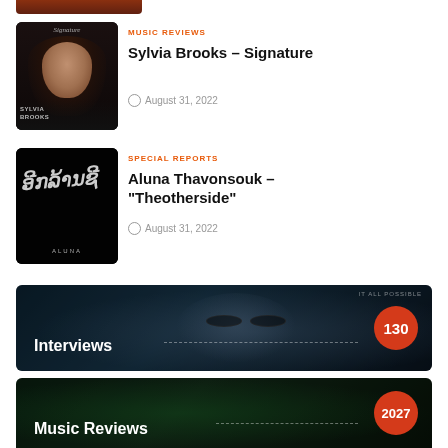[Figure (photo): Partial bottom of a photo at the very top of the page]
[Figure (photo): Album cover for Sylvia Brooks – Signature: woman with long brown hair on dark background with 'Signature' text at top and 'SYLVIA BROOKS' at bottom]
MUSIC REVIEWS
Sylvia Brooks – Signature
August 31, 2022
[Figure (photo): Album cover for Aluna Thavonsouk – Theotherside: dark background with white script/calligraphy text and 'ALUNA' label]
SPECIAL REPORTS
Aluna Thavonsouk – "Theotherside"
August 31, 2022
[Figure (photo): Interviews category banner: dark blue background with a face wearing sunglasses, 'IT ALL POSSIBLE' text top right, 'Interviews' label left with dashed line, red circle with '130' count]
[Figure (photo): Music Reviews category banner: dark green background partially visible at bottom, 'Music Reviews' label, red circle with '2027' count]